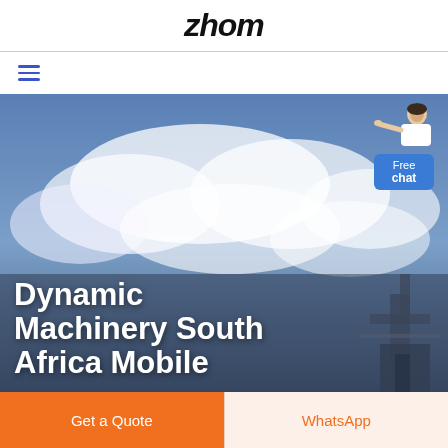zhom
[Figure (other): Hamburger menu icon with three blue horizontal lines]
[Figure (photo): Hero banner showing a cloudy sky with industrial machinery/crane visible at bottom right, overlaid with white bold text reading 'Dynamic Machinery South Africa Mobile'. A 'Free chat' widget with a customer service representative is visible in the top right corner.]
Get a Quote
WhatsApp